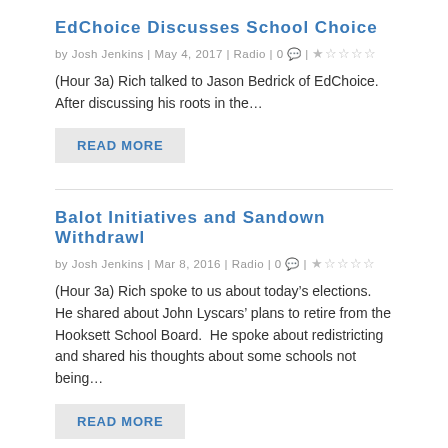EdChoice Discusses School Choice
by Josh Jenkins | May 4, 2017 | Radio | 0 💬 | ★☆☆☆☆
(Hour 3a) Rich talked to Jason Bedrick of EdChoice.  After discussing his roots in the…
READ MORE
Balot Initiatives and Sandown Withdrawl
by Josh Jenkins | Mar 8, 2016 | Radio | 0 💬 | ★☆☆☆☆
(Hour 3a) Rich spoke to us about today's elections.  He shared about John Lyscars' plans to retire from the Hooksett School Board.  He spoke about redistricting and shared his thoughts about some schools not being…
READ MORE